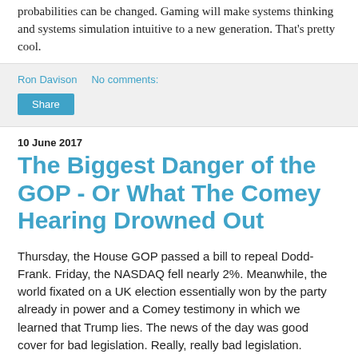probabilities can be changed. Gaming will make systems thinking and systems simulation intuitive to a new generation. That's pretty cool.
Ron Davison    No comments:
Share
10 June 2017
The Biggest Danger of the GOP - Or What The Comey Hearing Drowned Out
Thursday, the House GOP passed a bill to repeal Dodd-Frank. Friday, the NASDAQ fell nearly 2%. Meanwhile, the world fixated on a UK election essentially won by the party already in power and a Comey testimony in which we learned that Trump lies. The news of the day was good cover for bad legislation. Really, really bad legislation.